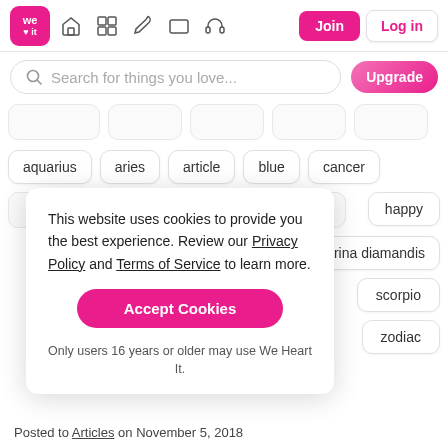We Heart It navigation bar with logo, icons, Join and Log in buttons
Search for things you love...
aquarius
aries
article
blue
cancer
happy
marina diamandis
scorpio
zodiac
This website uses cookies to provide you the best experience. Review our Privacy Policy and Terms of Service to learn more.
Accept Cookies
Only users 16 years or older may use We Heart It.
Posted to Articles on November 5, 2018